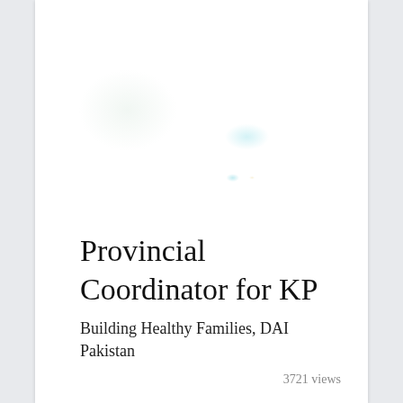[Figure (illustration): Faint decorative watermark or logo image in light cyan/blue tones, partially visible in the upper portion of the page]
Provincial Coordinator for KP
Building Healthy Families, DAI Pakistan
3721 views